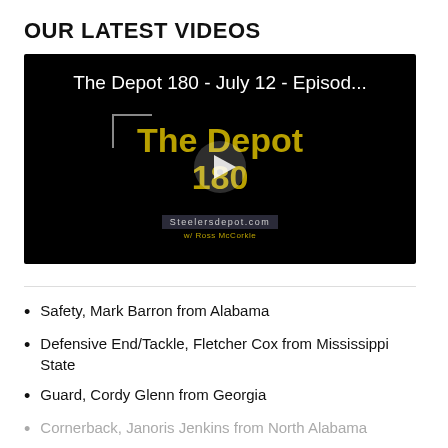OUR LATEST VIDEOS
[Figure (screenshot): Video thumbnail for 'The Depot 180 - July 12 - Episod...' showing The Depot 180 logo in gold text on a black background with a play button, hosted by Steelersdepot.com w/ Ross McCorkle]
Safety, Mark Barron from Alabama
Defensive End/Tackle, Fletcher Cox from Mississippi State
Guard, Cordy Glenn from Georgia
Cornerback, Janoris Jenkins from North Alabama